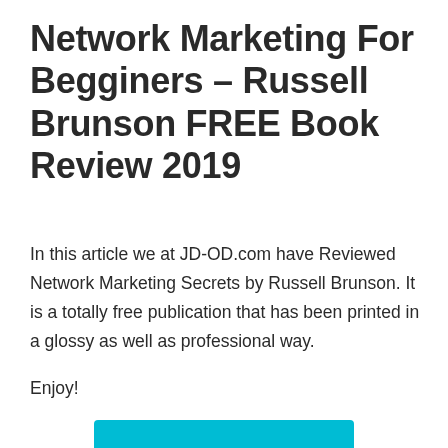Network Marketing For Begginers – Russell Brunson FREE Book Review 2019
In this article we at JD-OD.com have Reviewed Network Marketing Secrets by Russell Brunson. It is a totally free publication that has been printed in a glossy as well as professional way.
Enjoy!